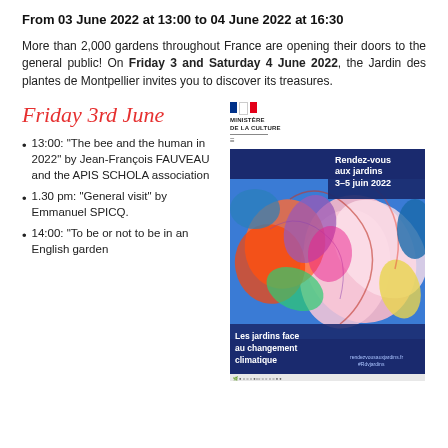From 03 June 2022 at 13:00 to 04 June 2022 at 16:30
More than 2,000 gardens throughout France are opening their doors to the general public! On Friday 3 and Saturday 4 June 2022, the Jardin des plantes de Montpellier invites you to discover its treasures.
Friday 3rd June
[Figure (illustration): Event poster for 'Rendez-vous aux jardins 3-5 juin 2022' showing colorful garden flowers illustration with text 'Les jardins face au changement climatique' and Ministère de la Culture logo]
13:00: "The bee and the human in 2022" by Jean-François FAUVEAU and the APIS SCHOLA association
1.30 pm: "General visit" by Emmanuel SPICQ.
14:00: "To be or not to be in an English garden